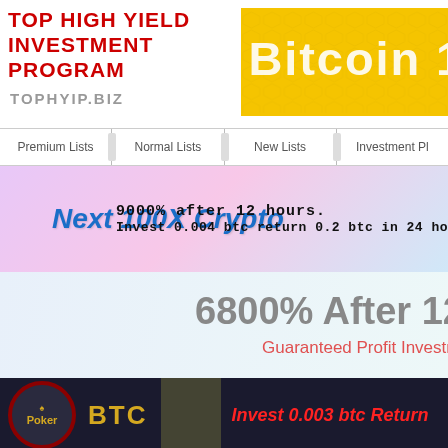TOP HIGH YIELD INVESTMENT PROGRAM
TOPHYIP.BIZ
[Figure (screenshot): Bitcoin 100 banner ad with yellow honeycomb background]
Premium Lists
Normal Lists
New Lists
Investment Pl...
[Figure (screenshot): Next 100X Crypto banner - 9000% after 12 hours, Invest 0.004 btc return 0.2 btc in 24 hours]
[Figure (screenshot): 6800% After 120 Hours - Guaranteed Profit Investment banner]
[Figure (screenshot): BTC Poker - Invest 0.003 btc Return banner]
[Figure (screenshot): Crypto Africa - Best Bitcoin Investment Site - Earning 10000% percent banner]
How To Invest Via Perfect Money
How To Invest Via...